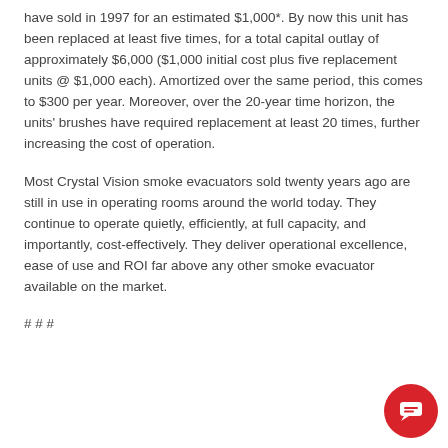have sold in 1997 for an estimated $1,000*. By now this unit has been replaced at least five times, for a total capital outlay of approximately $6,000 ($1,000 initial cost plus five replacement units @ $1,000 each). Amortized over the same period, this comes to $300 per year. Moreover, over the 20-year time horizon, the units' brushes have required replacement at least 20 times, further increasing the cost of operation.
Most Crystal Vision smoke evacuators sold twenty years ago are still in use in operating rooms around the world today. They continue to operate quietly, efficiently, at full capacity, and importantly, cost-effectively. They deliver operational excellence, ease of use and ROI far above any other smoke evacuator available on the market.
# # #